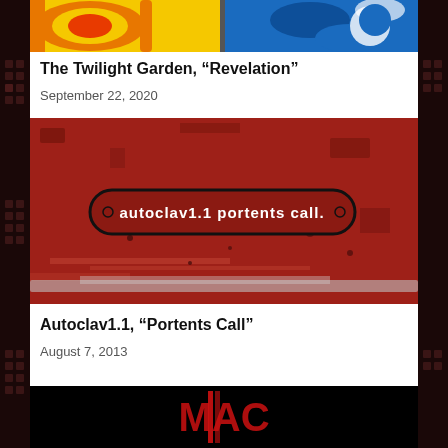[Figure (photo): Partial view of colorful mosaic artwork with sun/floral patterns in yellow, orange and blue tones]
The Twilight Garden, “Revelation”
September 22, 2020
[Figure (photo): Red weathered metal surface with a black oval badge reading 'autoclav1.1 portents call.']
Autoclav1.1, “Portents Call”
August 7, 2013
[Figure (photo): Partial view of a black image with red neon-style text, partially cut off]